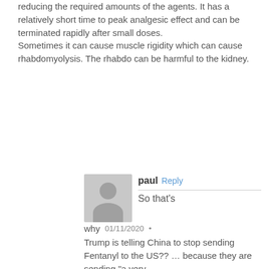reducing the required amounts of the agents. It has a relatively short time to peak analgesic effect and can be terminated rapidly after small doses. Sometimes it can cause muscle rigidity which can cause rhabdomyolysis. The rhabdo can be harmful to the kidney.
paul Reply
So that's why   01/11/2020 •
Trump is telling China to stop sending Fentanyl to the US?? … because they are sending "a very